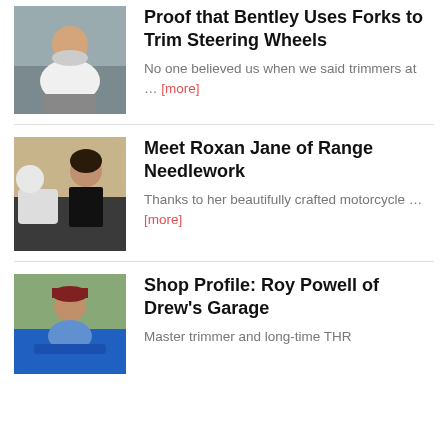[Figure (photo): Man in white polo shirt standing near a car in a workshop setting]
Proof that Bentley Uses Forks to Trim Steering Wheels
No one believed us when we said trimmers at … [more]
[Figure (photo): Woman in black dress standing next to sewing/upholstery equipment]
Meet Roxan Jane of Range Needlework
Thanks to her beautifully crafted motorcycle … [more]
[Figure (photo): Man in blue shirt and maroon cap standing next to a blue car outdoors]
Shop Profile: Roy Powell of Drew's Garage
Master trimmer and long-time THR